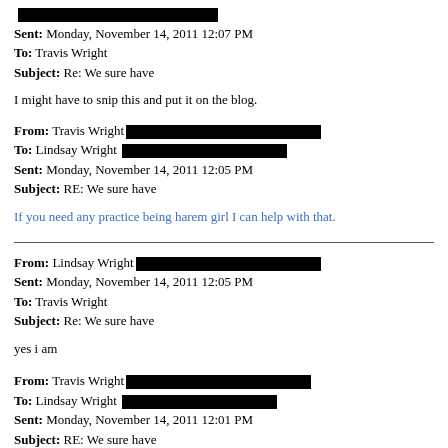From: Lindsay Wright [redacted] Sent: Monday, November 14, 2011 12:07 PM To: Travis Wright Subject: Re: We sure have
I might have to snip this and put it on the blog.
From: Travis Wright [redacted] To: Lindsay Wright [redacted] Sent: Monday, November 14, 2011 12:05 PM Subject: RE: We sure have
If you need any practice being harem girl I can help with that.
From: Lindsay Wright [redacted] Sent: Monday, November 14, 2011 12:05 PM To: Travis Wright Subject: Re: We sure have
yes i am
From: Travis Wright [redacted] To: Lindsay Wright [redacted] Sent: Monday, November 14, 2011 12:01 PM Subject: RE: We sure have